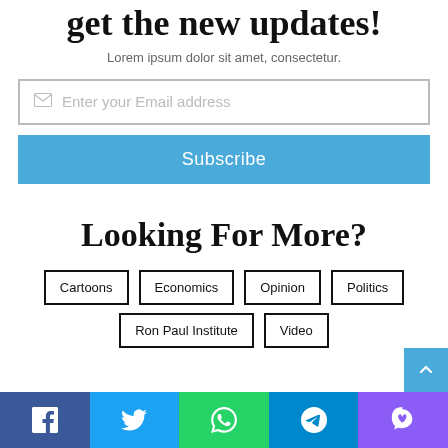get the new updates!
Lorem ipsum dolor sit amet, consectetur.
Enter your Email address
Subscribe
Looking For More?
Cartoons
Economics
Opinion
Politics
Ron Paul Institute
Video